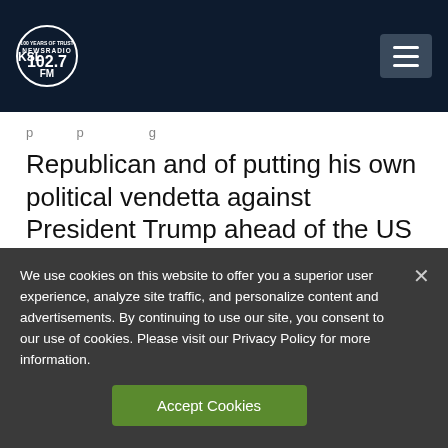KSL NewsRadio 102.7FM
Republican and of putting his own political vendetta against President Trump ahead of the US Constitution.
[Figure (logo): Partial logo visible below divider]
We use cookies on this website to offer you a superior user experience, analyze site traffic, and personalize content and advertisements. By continuing to use our site, you consent to our use of cookies. Please visit our Privacy Policy for more information.